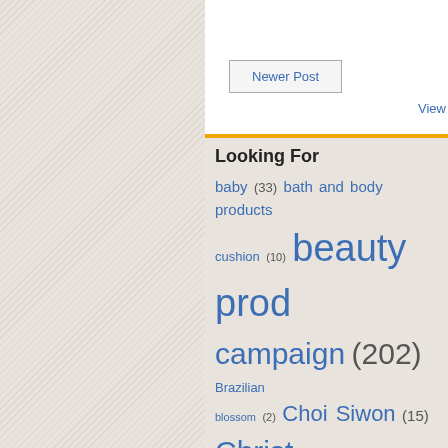Newer Post
View
Looking For
baby (33) bath and body products cushion (10) beauty products campaign (202) Brazilian blossom (2) Choi Siwon (15) Christmas Disney (20) exercise (19) family Dragon (8) gift ideas (34) giveaway (45) happiness (18) health (26) family (412) home improvement Human Heart Nature (50) Japanese Korean cosmetics (192) Korean fashion (12) Korean tradition (24) makeup (261) Mixed Martial Arts